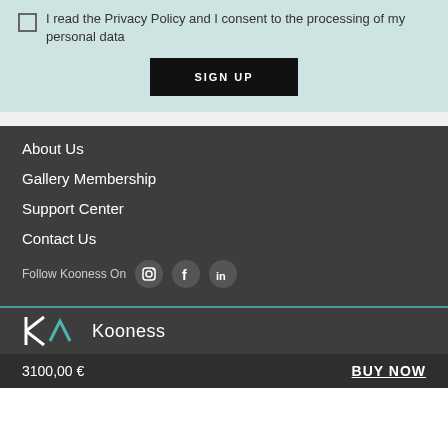I read the Privacy Policy and I consent to the processing of my personal data
SIGN UP
About Us
Gallery Membership
Support Center
Contact Us
Follow Kooness On
[Figure (logo): Kooness logo with angular K and mountain shape in teal and white]
3100,00 €
BUY NOW